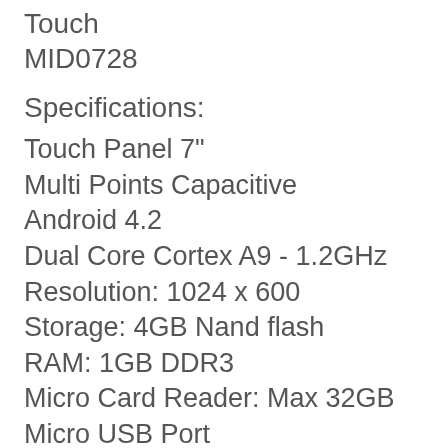Touch
MID0728
Specifications:
Touch Panel 7"
Multi Points Capacitive
Android 4.2
Dual Core Cortex A9 - 1.2GHz
Resolution: 1024 x 600
Storage: 4GB Nand flash
RAM: 1GB DDR3
Micro Card Reader: Max 32GB
Micro USB Port
Dual Camera: 2MP Back/ 0.3MP Front
WIFI 802, 11b/g/n
Battery Li-Ion 2200mAh
Supported formats:
Picture File: JPG, JPEG, BMP, PNG
Audio: MP3, WMA, MR2, AAC, WAV